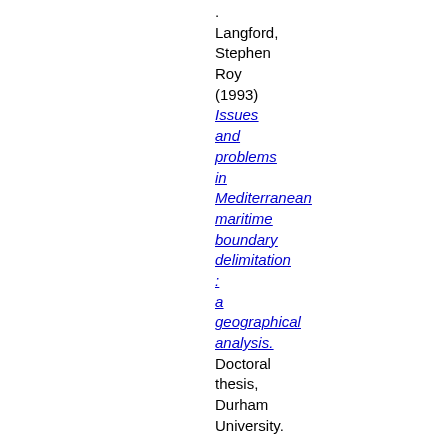. Langford, Stephen Roy (1993) Issues and problems in Mediterranean maritime boundary delimitation : a geographical analysis. Doctoral thesis, Durham University.

Letchford,